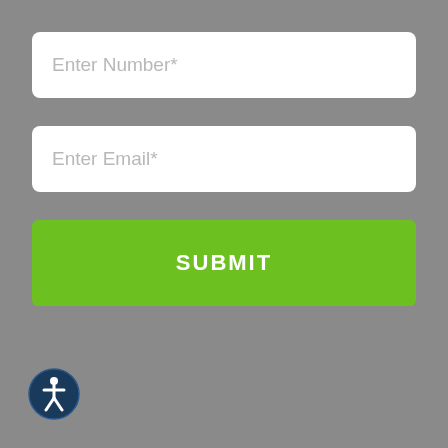Enter Number*
Enter Email*
SUBMIT
[Figure (illustration): Accessibility icon — circular dark blue button with white person/wheelchair symbol]